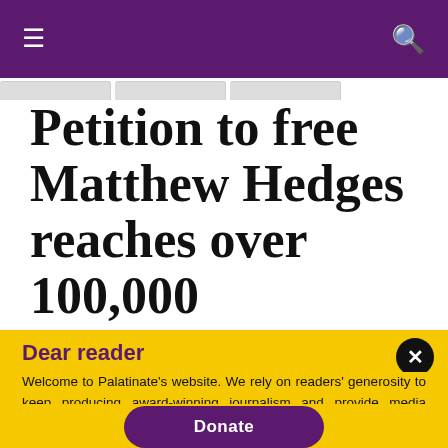≡  🔍
Petition to free Matthew Hedges reaches over 100,000 signatures
November 22, 2018
Dear reader
Welcome to Palatinate's website. We rely on readers' generosity to keep producing award-winning journalism and provide media training opportunities to our team of more than 150 students. Palatinate has produced some of the biggest names in British media, from Jeremy Vine to the late great Sir Harold Evans. Every contribution to Palatinate is an investment into the future of journalism.
Donate